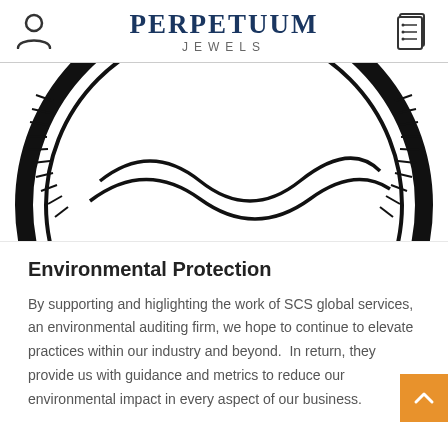PERPETUUM JEWELS
[Figure (illustration): Partial view of a circular coin or medallion showing detailed ridged edges and curved engraved lines, cropped at the top of the content area.]
Environmental Protection
By supporting and higlighting the work of SCS global services, an environmental auditing firm, we hope to continue to elevate practices within our industry and beyond.  In return, they provide us with guidance and metrics to reduce our environmental impact in every aspect of our business.